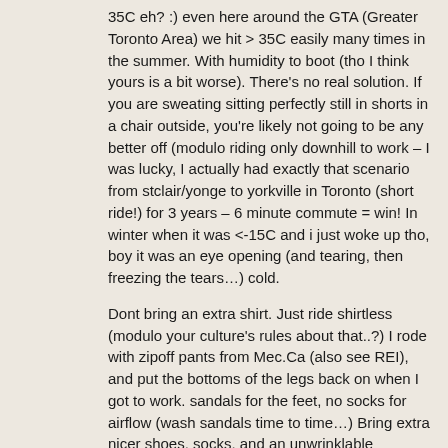35C eh? :) even here around the GTA (Greater Toronto Area) we hit > 35C easily many times in the summer. With humidity to boot (tho I think yours is a bit worse). There's no real solution. If you are sweating sitting perfectly still in shorts in a chair outside, you're likely not going to be any better off (modulo riding only downhill to work – I was lucky, I actually had exactly that scenario from stclair/yonge to yorkville in Toronto (short ride!) for 3 years – 6 minute commute = win! In winter when it was <-15C and i just woke up tho, boy it was an eye opening (and tearing, then freezing the tears…) cold.
Dont bring an extra shirt. Just ride shirtless (modulo your culture's rules about that..?) I rode with zipoff pants from Mec.Ca (also see REI), and put the bottoms of the legs back on when I got to work. sandals for the feet, no socks for airflow (wash sandals time to time…) Bring extra nicer shoes, socks, and an unwrinklable microfibre shirt in bag with me. In washroom i'd soak my face, and even from my pits down my arms with soapy water, rinse off, towel (paper…) dry, works great. Apply some conversation-saving deodorant too, voila, ready to go.
Riding slow is good too, very hard, leave extra time,